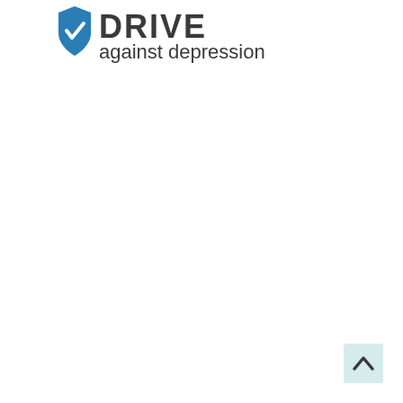[Figure (logo): Drive against depression logo: a blue shield/heart icon followed by bold dark text 'DRIVE' and below it 'against depression' in dark grey sans-serif text]
[Figure (other): A small light-blue square button with an upward-pointing caret/chevron arrow, positioned in the bottom-right corner of the page (scroll-to-top button)]